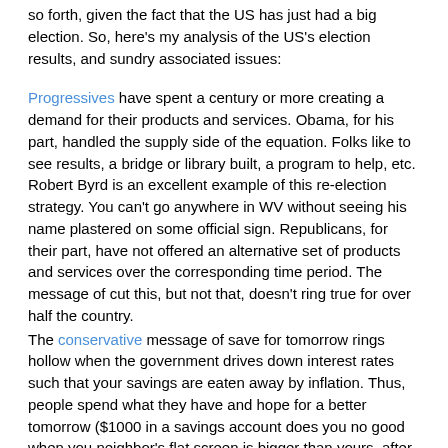so forth, given the fact that the US has just had a big election. So, here's my analysis of the US's election results, and sundry associated issues:
Progressives have spent a century or more creating a demand for their products and services. Obama, for his part, handled the supply side of the equation. Folks like to see results, a bridge or library built, a program to help, etc. Robert Byrd is an excellent example of this re-election strategy. You can't go anywhere in WV without seeing his name plastered on some official sign. Republicans, for their part, have not offered an alternative set of products and services over the corresponding time period. The message of cut this, but not that, doesn't ring true for over half the country.
The conservative message of save for tomorrow rings hollow when the government drives down interest rates such that your savings are eaten away by inflation. Thus, people spend what they have and hope for a better tomorrow ($1000 in a savings account does you no good when you neighbor's flat screen is bigger than yours, after all).
The conservative message of investment and the power of compound interest is undercut by the government's insertion of itself into the market. It picks winners and losers, it deems companies too big to fail, it plays with the value of money and commodities. Given this, would you trust the